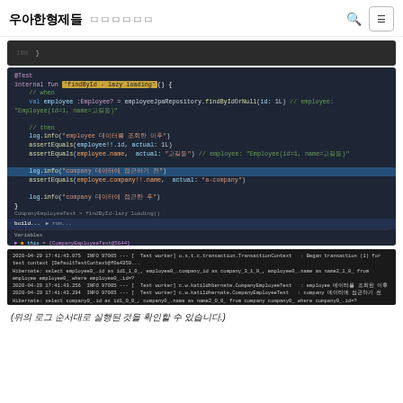우아한형제들 ㅁㅁㅁㅁㅁㅁ
[Figure (screenshot): Code snippet showing closing brace in dark editor]
[Figure (screenshot): Kotlin test code with lazy loading employee/company JPA repository test, debug variable panel showing company object with red-boxed Hibernate proxy reference]
[Figure (screenshot): Console log output showing Hibernate SQL queries for employee and company select statements]
(위의 로그 순서대로 실행된 것을 확인할 수 있습니다.)